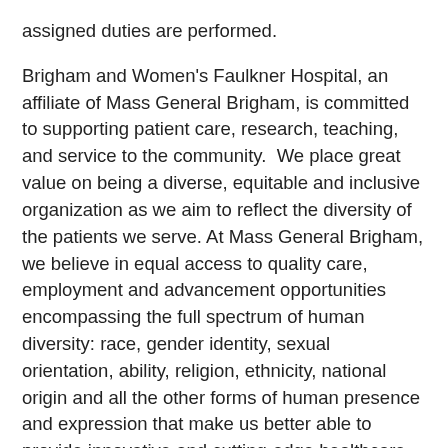assigned duties are performed.
Brigham and Women's Faulkner Hospital, an affiliate of Mass General Brigham, is committed to supporting patient care, research, teaching, and service to the community.  We place great value on being a diverse, equitable and inclusive organization as we aim to reflect the diversity of the patients we serve. At Mass General Brigham, we believe in equal access to quality care, employment and advancement opportunities encompassing the full spectrum of human diversity: race, gender identity, sexual orientation, ability, religion, ethnicity, national origin and all the other forms of human presence and expression that make us better able to provide innovative and cutting-edge healthcare and research.
Brigham and Women's Faulkner Hospital is a 171- bed non-profit, community teaching hospital located in Jamaica Plain directly across the street from the Arnold Arboretum. Founded in 1900, Brigham and Women's Faulkner Hospital